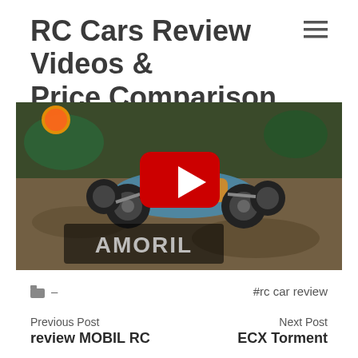RC Cars Review Videos & Price Comparison
[Figure (screenshot): YouTube video thumbnail showing an AMORIL RC buggy car on dirt/gravel with a red YouTube play button in the center]
– #rc car review
Previous Post review MOBIL RC
Next Post ECX Torment